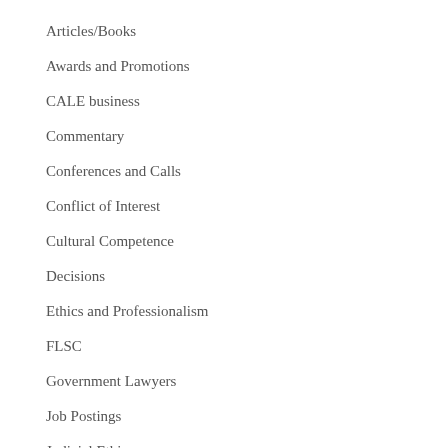Articles/Books
Awards and Promotions
CALE business
Commentary
Conferences and Calls
Conflict of Interest
Cultural Competence
Decisions
Ethics and Professionalism
FLSC
Government Lawyers
Job Postings
Judicial Ethics
Lectures/Workshops